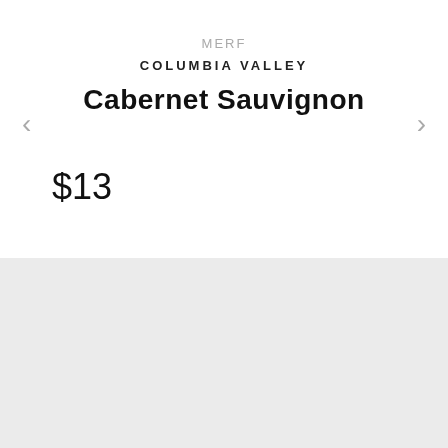MERF
COLUMBIA VALLEY
Cabernet Sauvignon
$13
Subscribe to our emails and get 10% off your first order
first name
email address